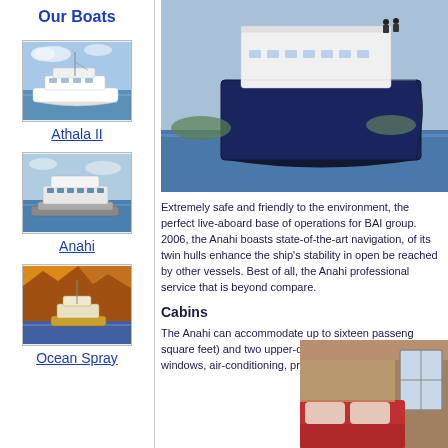Our Boats
[Figure (photo): Photo of the Athala II boat on water]
Athala II
[Figure (photo): Photo of the Anahi catamaran on water]
Anahi
[Figure (photo): Photo of the Ocean Spray boat near rocky cliffs]
Ocean Spray
[Figure (photo): Large photo of the Anahi bow from low angle on water with two crew members visible on deck]
Extremely safe and friendly to the environment, the perfect live-aboard base of operations for BAI group. 2006, the Anahi boasts state-of-the-art navigation, of its twin hulls enhance the ship's stability in open be reached by other vessels. Best of all, the Anahi professional service that is beyond compare.
Cabins
The Anahi can accommodate up to sixteen passeng square feet) and two upper-deck suites (193 square windows, air-conditioning, private facilities with hot
[Figure (photo): Interior photo of a cabin with red bedding and window]